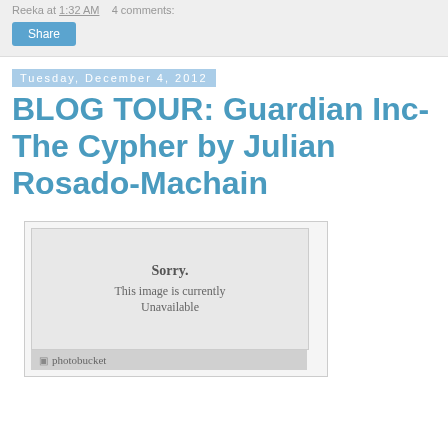Reeka at 1:32 AM   4 comments:
Share
Tuesday, December 4, 2012
BLOG TOUR: Guardian Inc-The Cypher by Julian Rosado-Machain
[Figure (photo): Broken image placeholder showing 'Sorry. This image is currently Unavailable' with a Photobucket watermark.]